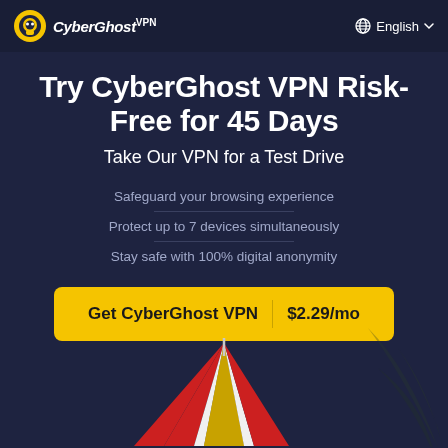CyberGhost VPN | English
Try CyberGhost VPN Risk-Free for 45 Days
Take Our VPN for a Test Drive
Safeguard your browsing experience
Protect up to 7 devices simultaneously
Stay safe with 100% digital anonymity
Get CyberGhost VPN | $2.29/mo
[Figure (illustration): Red and white striped circus/carnival tent with golden/beige sections at bottom, partially visible at bottom of the page, with dark palm leaf silhouette on right]